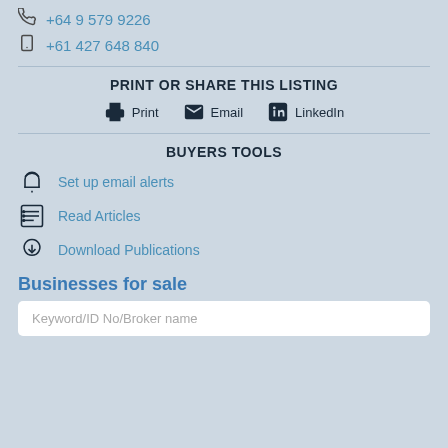+64 9 579 9226
+61 427 648 840
PRINT OR SHARE THIS LISTING
Print
Email
LinkedIn
BUYERS TOOLS
Set up email alerts
Read Articles
Download Publications
Businesses for sale
Keyword/ID No/Broker name